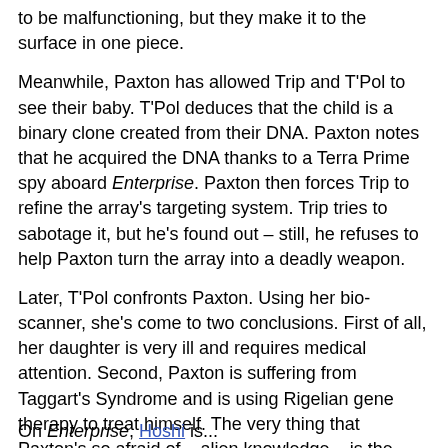to be malfunctioning, but they make it to the surface in one piece.
Meanwhile, Paxton has allowed Trip and T'Pol to see their baby. T'Pol deduces that the child is a binary clone created from their DNA. Paxton notes that he acquired the DNA thanks to a Terra Prime spy aboard Enterprise. Paxton then forces Trip to refine the array's targeting system. Trip tries to sabotage it, but he's found out – still, he refuses to help Paxton turn the array into a deadly weapon.
Later, T'Pol confronts Paxton. Using her bio-scanner, she's come to two conclusions. First of all, her daughter is very ill and requires medical attention. Second, Paxton is suffering from Taggart's Syndrome and is using Rigelian gene therapy to treat himself. The very thing that Paxton's so afraid of – alien knowledge – is the only thing keeping him alive.
On Enterprise, Hoshi is...